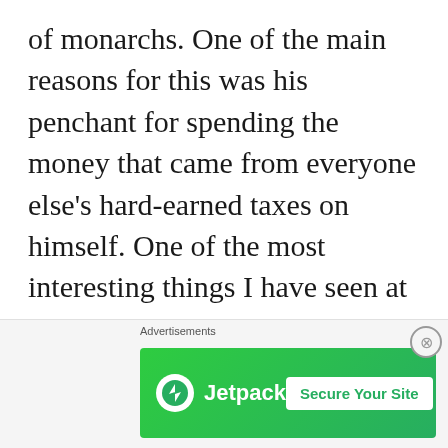of monarchs. One of the main reasons for this was his penchant for spending the money that came from everyone else's hard-earned taxes on himself. One of the most interesting things I have seen at the Tower was his coronation crown. George being George, he wanted a new crown, more opulent and encrusted with more jewels than any other, so he went
[Figure (other): Jetpack advertisement banner with green background, Jetpack logo circle with lightning bolt icon, brand name 'Jetpack', and 'Secure Your Site' call-to-action button. Includes 'Advertisements' label above and a close (X) button.]